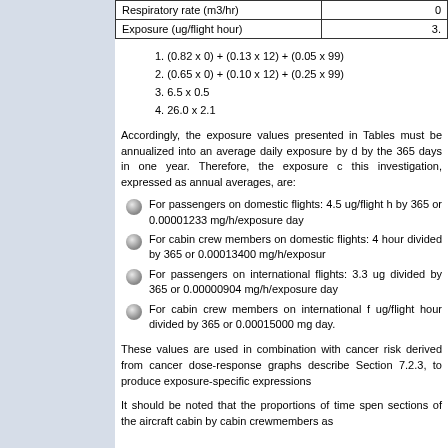|  |  |
| --- | --- |
| Respiratory rate (m3/hr) | 0 |
| Exposure (ug/flight hour) | 3. |
1. (0.82 x 0) + (0.13 x 12) + (0.05 x 99)
2. (0.65 x 0) + (0.10 x 12) + (0.25 x 99)
3. 6.5 x 0.5
4. 26.0 x 2.1
Accordingly, the exposure values presented in Tables must be annualized into an average daily exposure by d by the 365 days in one year. Therefore, the exposure c this investigation, expressed as annual averages, are:
For passengers on domestic flights: 4.5 ug/flight h by 365 or 0.00001233 mg/h/exposure day
For cabin crew members on domestic flights: 4 hour divided by 365 or 0.00013400 mg/h/exposure
For passengers on international flights: 3.3 ug divided by 365 or 0.00000904 mg/h/exposure day
For cabin crew members on international f ug/flight hour divided by 365 or 0.00015000 mg day.
These values are used in combination with cancer risk derived from cancer dose-response graphs describe Section 7.2.3, to produce exposure-specific expressions
It should be noted that the proportions of time spen sections of the aircraft cabin by cabin crewmembers as